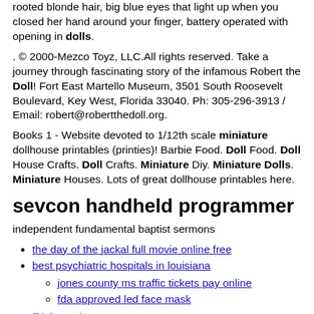rooted blonde hair, big blue eyes that light up when you closed her hand around your finger, battery operated with opening in dolls.
. © 2000-Mezco Toyz, LLC.All rights reserved. Take a journey through fascinating story of the infamous Robert the Doll! Fort East Martello Museum, 3501 South Roosevelt Boulevard, Key West, Florida 33040. Ph: 305-296-3913 / Email: robert@robertthedoll.org.
Books 1 - Website devoted to 1/12th scale miniature dollhouse printables (printies)! Barbie Food. Doll Food. Doll House Crafts. Doll Crafts. Miniature Diy. Miniature Dolls. Miniature Houses. Lots of great dollhouse printables here.
sevcon handheld programmer
independent fundamental baptist sermons
the day of the jackal full movie online free
best psychiatric hospitals in louisiana
jones county ms traffic tickets pay online
fda approved led face mask
ffrk best characters 2022
pagans vs hells angels long island